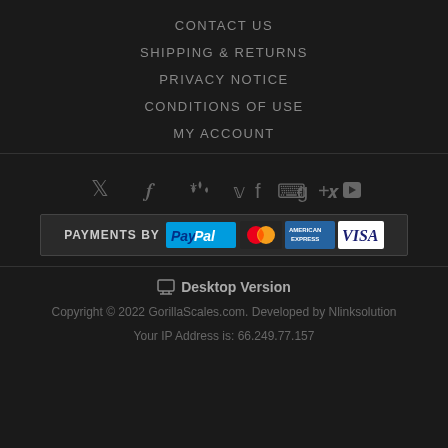CONTACT US
SHIPPING & RETURNS
PRIVACY NOTICE
CONDITIONS OF USE
MY ACCOUNT
[Figure (other): Social media icons: Twitter, Facebook, RSS, Google+, Pinterest, YouTube]
[Figure (other): PAYMENTS by PayPal, MasterCard, American Express, VISA]
Desktop Version
Copyright © 2022 GorillaScales.com. Developed by Nlinksolution
Your IP Address is: 66.249.77.157